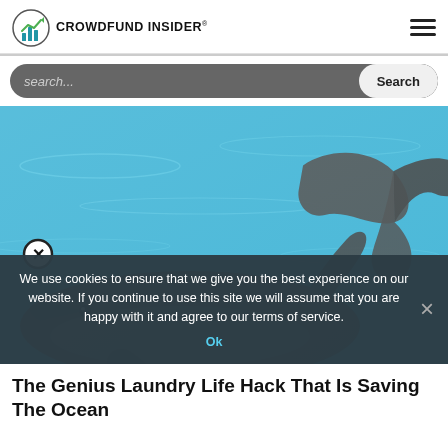CROWDFUND INSIDER®
search...
[Figure (photo): Underwater photo showing two dolphins swimming in blue water, with one dolphin's tail visible in the upper right and another dolphin's face and dorsal fin visible in the center-left. A close button (X in a circle) is overlaid on the image.]
We use cookies to ensure that we give you the best experience on our website. If you continue to use this site we will assume that you are happy with it and agree to our terms of service.
The Genius Laundry Life Hack That Is Saving The Ocean